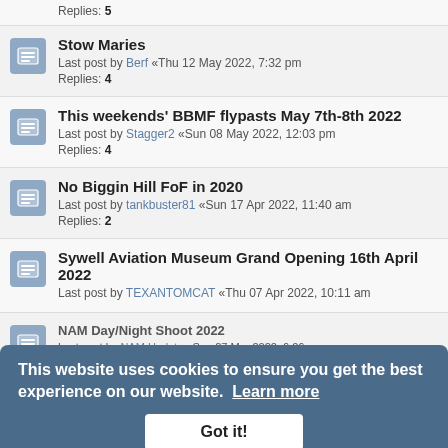Replies: 5
Stow Maries — Last post by Berf «Thu 12 May 2022, 7:32 pm — Replies: 4
This weekends' BBMF flypasts May 7th-8th 2022 — Last post by Stagger2 «Sun 08 May 2022, 12:03 pm — Replies: 4
No Biggin Hill FoF in 2020 — Last post by tankbuster81 «Sun 17 Apr 2022, 11:40 am — Replies: 2
Sywell Aviation Museum Grand Opening 16th April 2022 — Last post by TEXANTOMCAT «Thu 07 Apr 2022, 10:11 am
NAM Day/Night Shoot 2022 — Last post by NAM Update «Sun 27 Mar 2022, 6:06 pm
Sywell Aviation Museum Book and Model Sale 6th March 2022 — Last post by TEXANTOMCAT «Sun 27 Feb 2022, 5:36 pm
Flying Legends 2022
This website uses cookies to ensure you get the best experience on our website. Learn more
Got it!